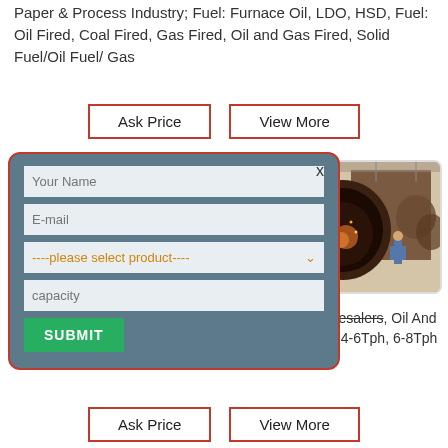Paper & Process Industry; Fuel: Furnace Oil, LDO, HSD, Fuel: Oil Fired, Coal Fired, Gas Fired, Oil and Gas Fired, Solid Fuel/Oil Fuel/ Gas
Ask Price   View More
[Figure (screenshot): A contact form modal with fields: Your Name, E-mail, a product selector (please select product), capacity, and a SUBMIT button. The modal has a steel-blue background with a red border and rounded corners, with an X close button.]
[Figure (photo): Industrial photo showing a large cylindrical boiler or pipe being worked on inside a factory. A worker is visible in the background. Sparks or debris visible at the opening of the large metal cylinder.]
Boiler Manufacturers, Oil Fired Boiler exporters wholesalers, Oil And Gas Fired Steam Boilers Capacity : 0-2Tph, 2-4Tph, 4-6Tph, 6-8Tph Fuel : FO, LDO, LSHS, Gas (Natural / Bio).
Ask Price   View More